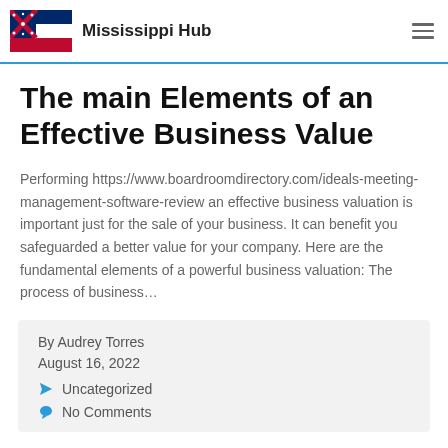Mississippi Hub
The main Elements of an Effective Business Value
Performing https://www.boardroomdirectory.com/ideals-meeting-management-software-review an effective business valuation is important just for the sale of your business. It can benefit you safeguarded a better value for your company. Here are the fundamental elements of a powerful business valuation: The process of business…
By Audrey Torres
August 16, 2022
Uncategorized
No Comments